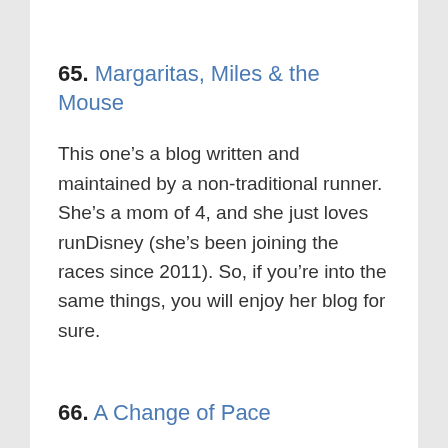65. Margaritas, Miles & the Mouse
This one’s a blog written and maintained by a non-traditional runner. She’s a mom of 4, and she just loves runDisney (she’s been joining the races since 2011). So, if you’re into the same things, you will enjoy her blog for sure.
66. A Change of Pace